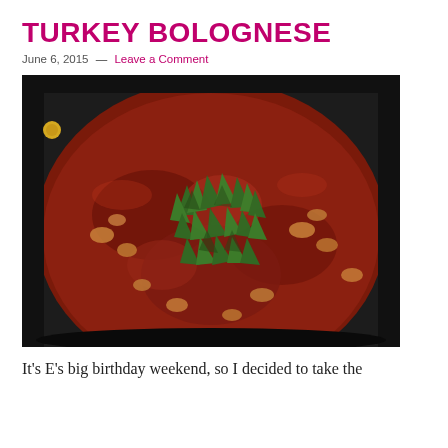TURKEY BOLOGNESE
June 6, 2015 — Leave a Comment
[Figure (photo): A large black cooking pot filled with turkey bolognese sauce topped with freshly chopped green basil leaves. The sauce is rich red-brown with crumbled ground turkey visible throughout.]
It's E's big birthday weekend, so I decided to take the